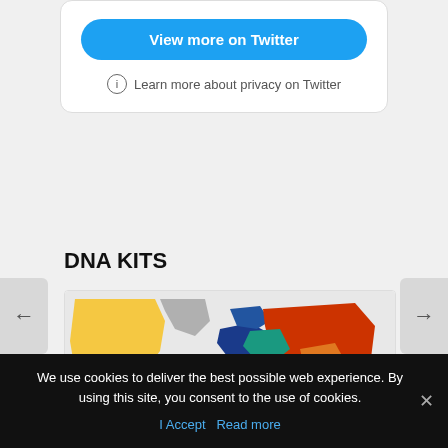[Figure (screenshot): Twitter embed card with 'View more on Twitter' button and privacy info link]
View more on Twitter
ⓘ Learn more about privacy on Twitter
DNA KITS
[Figure (map): World map showing DNA ancestry regions with colored overlays. Label: 60.3% British]
We use cookies to deliver the best possible web experience. By using this site, you consent to the use of cookies.
I Accept   Read more